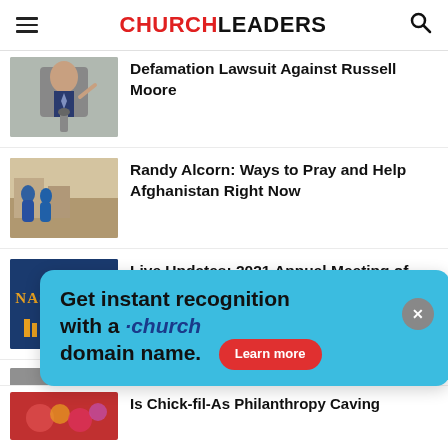CHURCHLEADERS
Defamation Lawsuit Against Russell Moore
[Figure (photo): Man in suit gesturing at a microphone]
Randy Alcorn: Ways to Pray and Help Afghanistan Right Now
[Figure (photo): People in blue robes in Afghanistan setting]
Live Updates: 2021 Annual Meeting of Southern Baptist Convention
[Figure (photo): Nashville logo on dark blue background]
[Figure (photo): Partially visible news article thumbnail]
ang
Get instant recognition with a .church domain name. Learn more
Is Chick-fil-As Philanthropy Caving